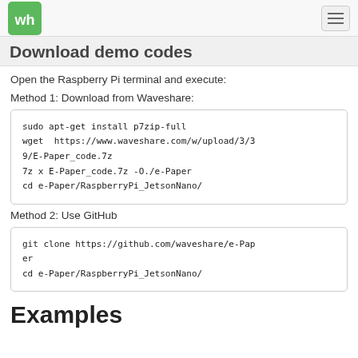Waveshare logo and navigation
Download demo codes
Open the Raspberry Pi terminal and execute:
Method 1: Download from Waveshare:
sudo apt-get install p7zip-full
wget  https://www.waveshare.com/w/upload/3/39/E-Paper_code.7z
7z x E-Paper_code.7z -O./e-Paper
cd e-Paper/RaspberryPi_JetsonNano/
Method 2: Use GitHub
git clone https://github.com/waveshare/e-Paper
cd e-Paper/RaspberryPi_JetsonNano/
Examples